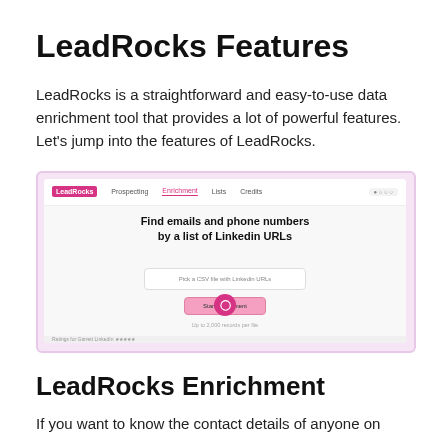LeadRocks Features
LeadRocks is a straightforward and easy-to-use data enrichment tool that provides a lot of powerful features. Let's jump into the features of LeadRocks.
[Figure (screenshot): Screenshot of the LeadRocks web app showing the Enrichment tab with a prompt 'Find emails and phone numbers by a list of Linkedin URLs', a CSV file upload field, and a Start enrichment button.]
LeadRocks Enrichment
If you want to know the contact details of anyone on